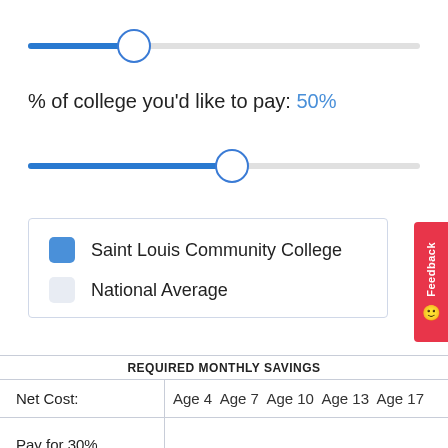[Figure (other): Horizontal slider control, approximately 27% filled with blue, with a circular thumb handle]
% of college you'd like to pay: 50%
[Figure (other): Horizontal slider control, approximately 52% filled with blue, with a circular thumb handle]
Saint Louis Community College
National Average
| Net Cost: | Age 4 | Age 7 | Age 10 | Age 13 | Age 17 |
| --- | --- | --- | --- | --- | --- |
| Pay for 30% of college |  |  |  |  |  |